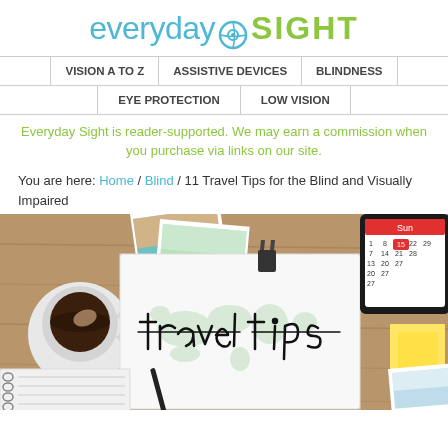everyday SIGHT
VISION A TO Z | ASSISTIVE DEVICES | BLINDNESS | EYE PROTECTION | LOW VISION
Everyday Sight is reader-supported. We may earn a commission when you purchase via links on our site.
You are here: Home / Blind / 11 Travel Tips for the Blind and Visually Impaired
[Figure (photo): A flat-lay photo of a wooden desk with travel items: a coffee cup, polaroid photos, a notepad with 'travel tips' handwritten over a green world map watermark, a pen, a spiral notebook, a tablet showing a calendar, and yellow sticky notes.]